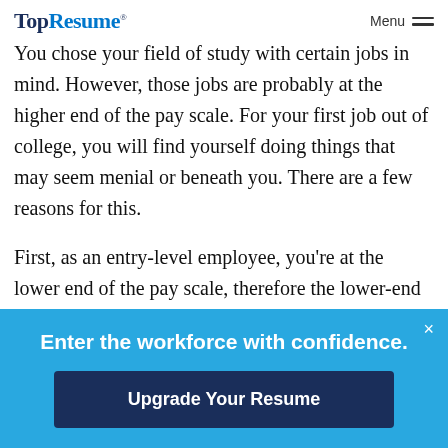TopResume® Menu
You chose your field of study with certain jobs in mind. However, those jobs are probably at the higher end of the pay scale. For your first job out of college, you will find yourself doing things that may seem menial or beneath you. There are a few reasons for this.
First, as an entry-level employee, you're at the lower end of the pay scale, therefore the lower-end tasks go to you. Secondly, and this is really
Enter the workforce with confidence.
Upgrade Your Resume